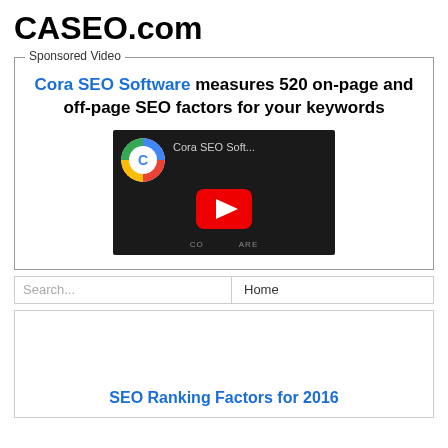CASEO.com
Sponsored Video
Cora SEO Software measures 520 on-page and off-page SEO factors for your keywords
[Figure (screenshot): YouTube video thumbnail showing Cora SEO Software with red play button overlay]
Search...
Home
SEO Ranking Factors for 2016